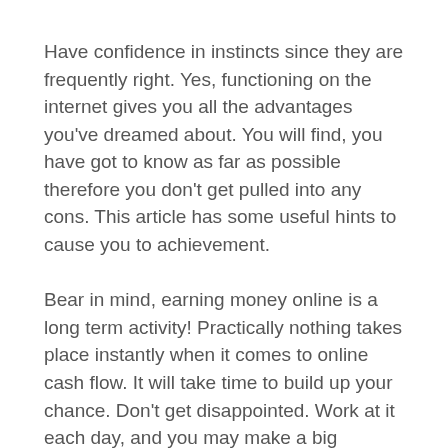Have confidence in instincts since they are frequently right. Yes, functioning on the internet gives you all the advantages you've dreamed about. You will find, you have got to know as far as possible therefore you don't get pulled into any cons. This article has some useful hints to cause you to achievement.
Bear in mind, earning money online is a long term activity! Practically nothing takes place instantly when it comes to online cash flow. It will take time to build up your chance. Don't get disappointed. Work at it each day, and you may make a big difference. Perseverance and dedication will be the secrets to success!
Offer professional services to the people on Fiverr. It is a website that enables people to get something that they really want from multimedia style to special offers to get a smooth price of 5 money. There is a one money cost for each support that you simply offer, but